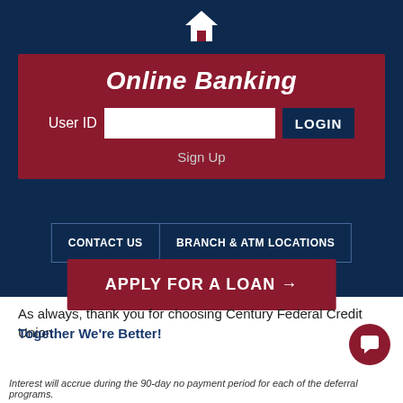[Figure (screenshot): Home icon (house) in white on navy background]
Online Banking
User ID [input field] LOGIN
Sign Up
CONTACT US | BRANCH & ATM LOCATIONS
APPLY FOR A LOAN →
As always, thank you for choosing Century Federal Credit Union.
Together We're Better!
[Figure (other): Chat bubble icon in white on dark red circle]
Interest will accrue during the 90-day no payment period for each of the deferral programs.